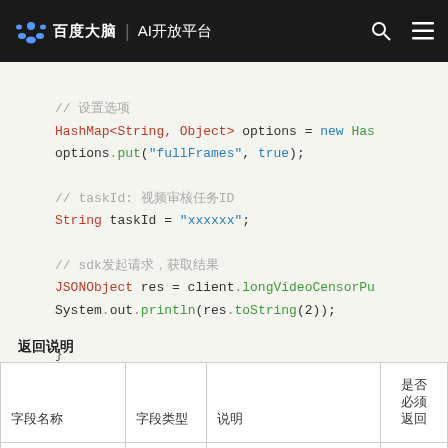百度大脑 | AI开放平台
[Figure (screenshot): Code snippet in Java showing HashMap options setup, taskId assignment, and SDK call to longVideoCensorPu with System.out.println result]
返回说明
| 字段名称 | 字段类型 | 说明 | 是否必须返回 |
| --- | --- | --- | --- |
|  |